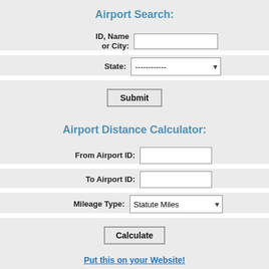Airport Search:
ID, Name or City: [input field]
State: [dropdown] ------------ ▾
Submit [button]
Airport Distance Calculator:
From Airport ID: [input field]
To Airport ID: [input field]
Mileage Type: Statute Miles ▾
Calculate [button]
Put this on your Website!
Subscribe Today!
Sign up Today to start receiving our Weekly Email Newsletter about upcoming Aviation Events, Fly-ins, Fly-outs, The Aviation Journal, Most Active Airports...